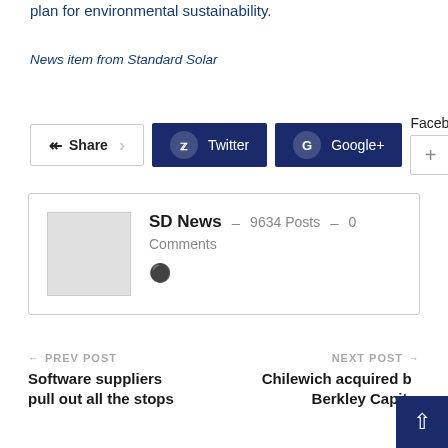plan for environmental sustainability.
News item from Standard Solar
[Figure (screenshot): Social share buttons: Share, Twitter, Google+, Facebook with plus button]
SD News – 9634 Posts – 0 Comments
← PREV POST
Software suppliers pull out all the stops
NEXT POST →
Chilewich acquired by Berkley Capital